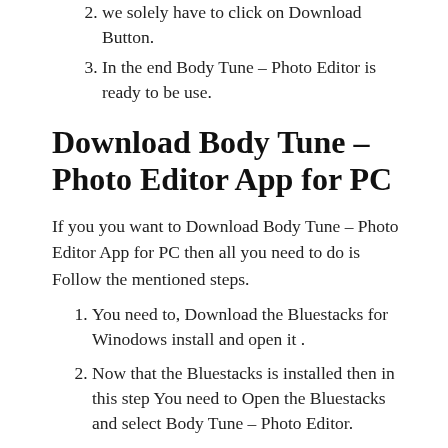we solely have to click on Download Button.
In the end Body Tune – Photo Editor is ready to be use.
Download Body Tune – Photo Editor App for PC
If you you want to Download Body Tune – Photo Editor App for PC then all you need to do is Follow the mentioned steps.
You need to, Download the Bluestacks for Winodows install and open it .
Now that the Bluestacks is installed then in this step You need to Open the Bluestacks and select Body Tune – Photo Editor.
After that we select itthen go to Google play store ⇒ Search for Body Tune – Photo Editor ⇒